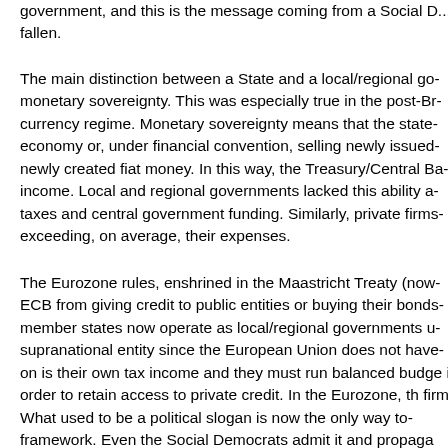government, and this is the message coming from a Social D... fallen.
The main distinction between a State and a local/regional go... monetary sovereignty. This was especially true in the post-Br... currency regime. Monetary sovereignty means that the state... economy or, under financial convention, selling newly issued... newly created fiat money. In this way, the Treasury/Central Ba... income. Local and regional governments lacked this ability a... taxes and central government funding. Similarly, private firms... exceeding, on average, their expenses.
The Eurozone rules, enshrined in the Maastricht Treaty (now... ECB from giving credit to public entities or buying their bonds... member states now operate as local/regional governments u... supranational entity since the European Union does not have... on is their own tax income and they must run balanced budge... in order to retain access to private credit. In the Eurozone, th... firm. What used to be a political slogan is now the only way to... framework. Even the Social Democrats admit it and propagat...